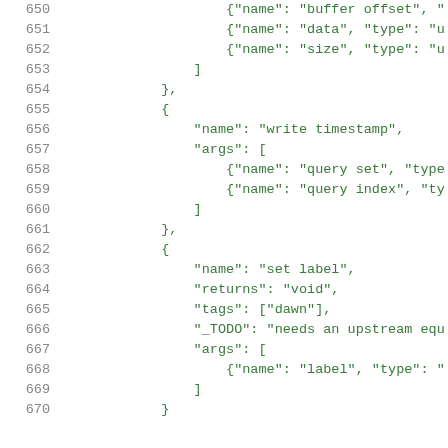Code listing lines 650-670 showing JSON structure with buffer offset, data, size, write timestamp, query set, query index, set label, returns void, tags dawn, _TODO needs an upstream equ, args label fields